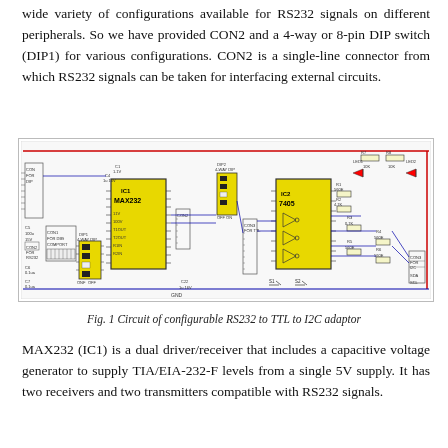wide variety of configurations available for RS232 signals on different peripherals. So we have provided CON2 and a 4-way or 8-pin DIP switch (DIP1) for various configurations. CON2 is a single-line connector from which RS232 signals can be taken for interfacing external circuits.
[Figure (circuit-diagram): Circuit diagram of configurable RS232 to TTL to I2C adaptor showing MAX232 IC1, DIP1 4-way DIP switch, CON2, IC2 7405, LEDs, capacitors, resistors, and various connectors including CON1, CON2, CON3.]
Fig. 1 Circuit of configurable RS232 to TTL to I2C adaptor
MAX232 (IC1) is a dual driver/receiver that includes a capacitive voltage generator to supply TIA/EIA-232-F levels from a single 5V supply. It has two receivers and two transmitters compatible with RS232 signals.